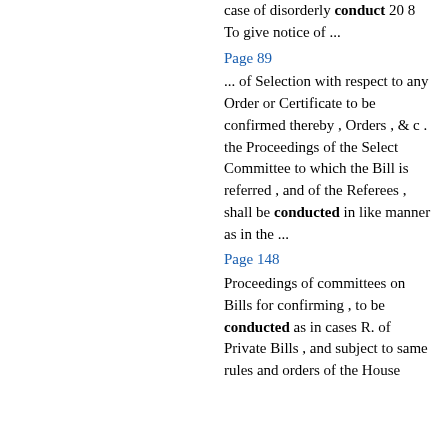case of disorderly conduct 20 8 To give notice of ...
Page 89
... of Selection with respect to any Order or Certificate to be confirmed thereby , Orders , & c . the Proceedings of the Select Committee to which the Bill is referred , and of the Referees , shall be conducted in like manner as in the ...
Page 148
Proceedings of committees on Bills for confirming , to be conducted as in cases R. of Private Bills , and subject to same rules and orders of the House